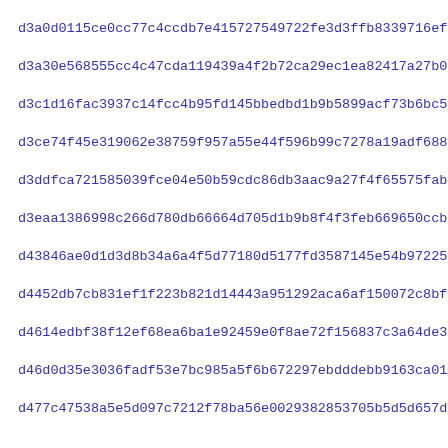d3a0d0115ce0cc77c4ccdb7e415727549722fe3d3ffb8339716efa3493c52
d3a30e568555cc4c47cda119439a4f2b72ca29ec1ea82417a27b01d8c20c7
d3c1d16fac3937c14fcc4b95fd145bbedbd1b9b5899acf73b6bc545867884
d3ce74f45e319062e38759f957a55e44f596b99c7278a19adf68887061bab
d3ddfca721585039fce04e50b59cdc86db3aac9a27f4f65575fab2f4a7856
d3eaa1386998c266d780db66664d705d1b9b8f4f3feb669650ccb6fab0f32
d43846ae0d1d3d8b34a6a4f5d77180d5177fd3587145e54b972259521769a
d4452db7cb831ef1f223b821d14443a951292aca6af150072c8bf29967 84f
d4614edbf38f12ef68ea6ba1e92459e0f8ae72f156837c3a64de3807568cb
d46d0d35e3036fadf53e7bc985a5f6b672297ebdddebb9163ca0186f6441e
d477c47538a5e5d097c7212f78ba56e0029382853705b5d5d657dfb0d6d0